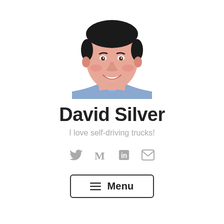[Figure (illustration): Illustrated portrait of a smiling man with dark hair wearing a light blue shirt, rendered in a flat vector/editorial illustration style with pink skin tones.]
David Silver
I love self-driving trucks!
[Figure (infographic): Four social media icons in gray: Twitter bird icon, Medium M icon, LinkedIn in icon, and email envelope icon.]
≡ Menu